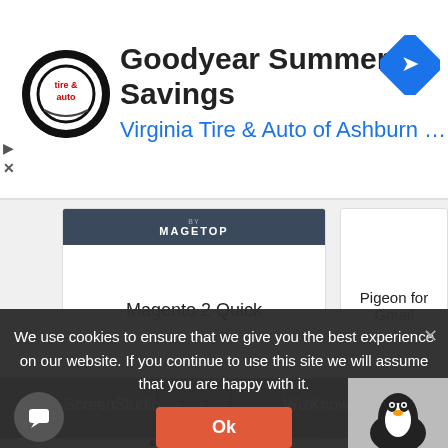[Figure (screenshot): Advertisement banner for Goodyear Summer Savings by Virginia Tire & Auto of Ashburn with logo and directional arrow icon]
Goodyear Summer Savings
Virginia Tire & Auto of Ashburn …
[Figure (screenshot): App grid showing Magento 2 Quick and Pigeon for Gmail in top row, ScreenStudio and WizKnowledge in second row]
Magento 2 Quick
Pigeon for Gmail
ScreenStudio
WizKnowledge
We use cookies to ensure that we give you the best experience on our website. If you continue to use this site we will assume that you are happy with it.